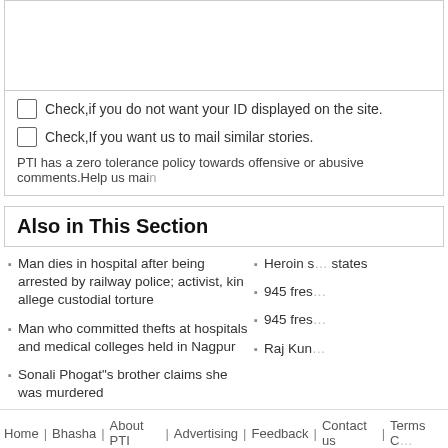Check,if you do not want your ID displayed on the site.
Check,If you want us to mail similar stories.
PTI has a zero tolerance policy towards offensive or abusive comments.Help us mai...
Also in This Section
Man dies in hospital after being arrested by railway police; activist, kin allege custodial torture
Man who committed thefts at hospitals and medical colleges held in Nagpur
Sonali Phogat"s brother claims she was murdered
Unprecedented scenes at Maharashtra Vidhan Bhavan as legislators of ruling alliance and opposition clash
Heroin s... states
945 fres...
945 fres...
Raj Kun...
Home | Bhasha | About PTI | Advertising | Feedback | Contact us | Terms C...